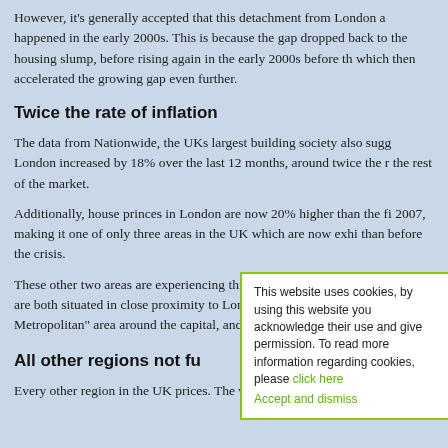However, it's generally accepted that this detachment from London happened in the early 2000s. This is because the gap dropped back to the housing slump, before rising again in the early 2000s before which then accelerated the growing gap even further.
Twice the rate of inflation
The data from Nationwide, the UKs largest building society also London increased by 18% over the last 12 months, around twice the rate of the rest of the market.
Additionally, house princes in London are now 20% higher than the 2007, making it one of only three areas in the UK which are now higher than before the crisis.
These other two areas are experiencing this because of the benefit from they are both situated in close proximity to London. The two areas in Metropolitan" area around the capital, and the "Outer South East" reg
All other regions not fu
Every other region in the UK prices. The worst affected ar
This website uses cookies, by using this website you acknowledge their use and give permission. To read more information regarding cookies, please click here Accept and dismiss